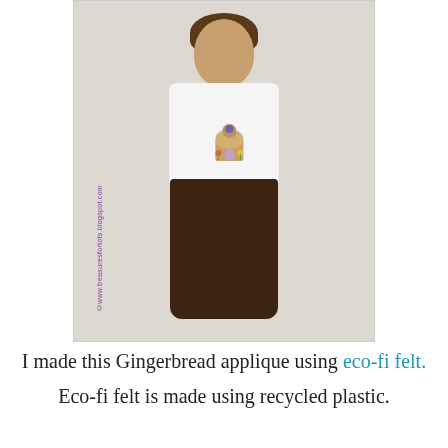[Figure (photo): A young child wearing a white t-shirt with a gingerbread house applique, brown pants, standing in front of a light-colored wall. A watermark reads ©www.treasuresfortots.blogspot.com along the left side of the image.]
I made this Gingerbread applique using eco-fi felt.
Eco-fi felt is made using recycled plastic.